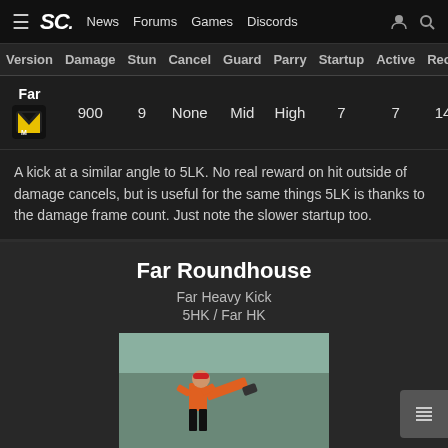SC. News Forums Games Discords
| Version | Damage | Stun | Cancel | Guard | Parry | Startup | Active | Reco |
| --- | --- | --- | --- | --- | --- | --- | --- | --- |
| Far [icon] | 900 | 9 | None | Mid | High | 7 | 7 | 14 |
A kick at a similar angle to 5LK. No real reward on hit outside of damage cancels, but is useful for the same things 5LK is thanks to the damage frame count. Just note the slower startup too.
Far Roundhouse
Far Heavy Kick
5HK / Far HK
[Figure (photo): Street Fighter character in orange gi performing a high roundhouse kick]